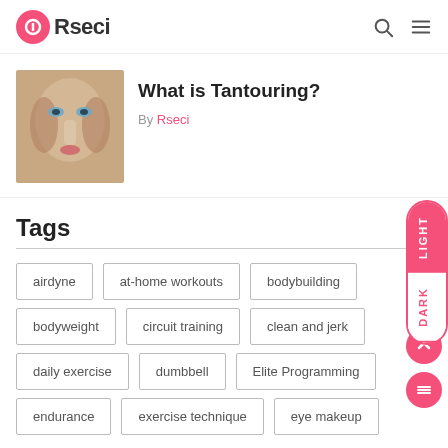ORseci
[Figure (photo): Woman's face with contour makeup (tantouring technique)]
What is Tantouring?
By Rseci
Tags
airdyne
at-home workouts
bodybuilding
bodyweight
circuit training
clean and jerk
daily exercise
dumbbell
Elite Programming
endurance
exercise technique
eye makeup